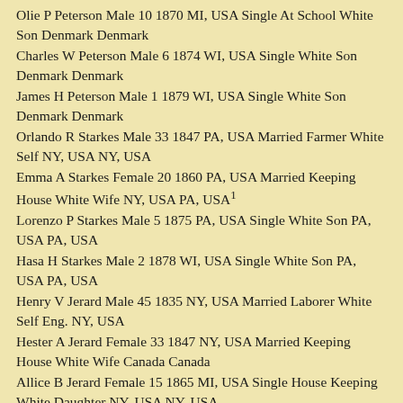Olie P Peterson Male 10 1870 MI, USA Single At School White Son Denmark Denmark
Charles W Peterson Male 6 1874 WI, USA Single White Son Denmark Denmark
James H Peterson Male 1 1879 WI, USA Single White Son Denmark Denmark
Orlando R Starkes Male 33 1847 PA, USA Married Farmer White Self NY, USA NY, USA
Emma A Starkes Female 20 1860 PA, USA Married Keeping House White Wife NY, USA PA, USA1
Lorenzo P Starkes Male 5 1875 PA, USA Single White Son PA, USA PA, USA
Hasa H Starkes Male 2 1878 WI, USA Single White Son PA, USA PA, USA
Henry V Jerard Male 45 1835 NY, USA Married Laborer White Self Eng. NY, USA
Hester A Jerard Female 33 1847 NY, USA Married Keeping House White Wife Canada Canada
Allice B Jerard Female 15 1865 MI, USA Single House Keeping White Daughter NY, USA NY, USA